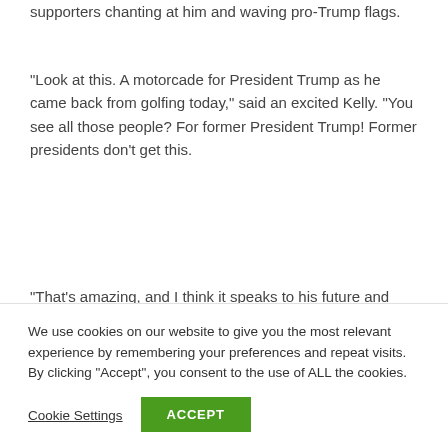supporters chanting at him and waving pro-Trump flags.
“Look at this. A motorcade for President Trump as he came back from golfing today,” said an excited Kelly. “You see all those people? For former President Trump! Former presidents don’t get this.
“That’s amazing, and I think it speaks to his future and what kind of job he did as
We use cookies on our website to give you the most relevant experience by remembering your preferences and repeat visits. By clicking “Accept”, you consent to the use of ALL the cookies.
Cookie Settings
ACCEPT